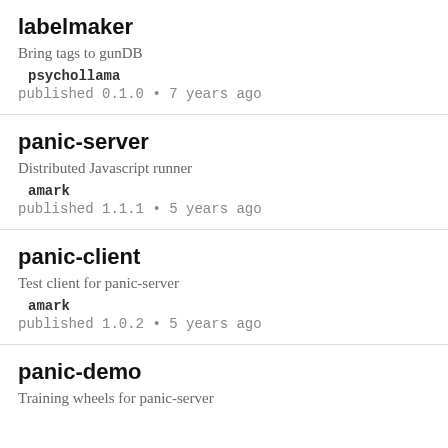labelmaker
Bring tags to gunDB
psychollama
published 0.1.0 • 7 years ago
panic-server
Distributed Javascript runner
amark
published 1.1.1 • 5 years ago
panic-client
Test client for panic-server
amark
published 1.0.2 • 5 years ago
panic-demo
Training wheels for panic-server